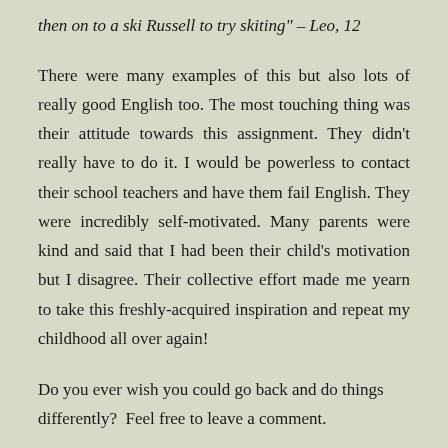then on to a ski Russell to try skiting" – Leo, 12
There were many examples of this but also lots of really good English too. The most touching thing was their attitude towards this assignment. They didn't really have to do it. I would be powerless to contact their school teachers and have them fail English. They were incredibly self-motivated. Many parents were kind and said that I had been their child's motivation but I disagree. Their collective effort made me yearn to take this freshly-acquired inspiration and repeat my childhood all over again!
Do you ever wish you could go back and do things differently?  Feel free to leave a comment.